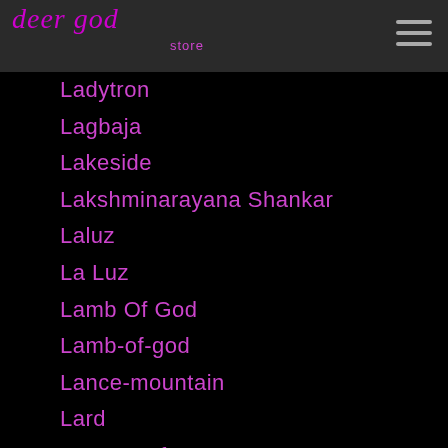deer god store
Ladytron
Lagbaja
Lakeside
Lakshminarayana Shankar
Laluz
La Luz
Lamb Of God
Lamb-of-god
Lance-mountain
Lard
Large-professor
La-roux
Lars-frederiksen
Lars-frederiksen
Lars Ulrich
La's
Last-exit-to-brooklyn